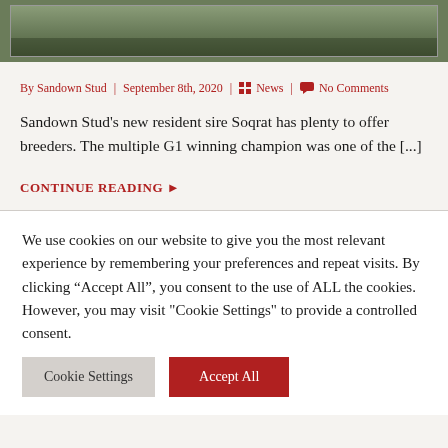[Figure (photo): Cropped bottom of a photo showing green grass and what appears to be a horse or animal on a field]
By Sandown Stud | September 8th, 2020 | News | No Comments
Sandown Stud’s new resident sire Soqrat has plenty to offer breeders. The multiple G1 winning champion was one of the [...]
CONTINUE READING ▶
We use cookies on our website to give you the most relevant experience by remembering your preferences and repeat visits. By clicking “Accept All”, you consent to the use of ALL the cookies. However, you may visit "Cookie Settings" to provide a controlled consent.
Cookie Settings  Accept All